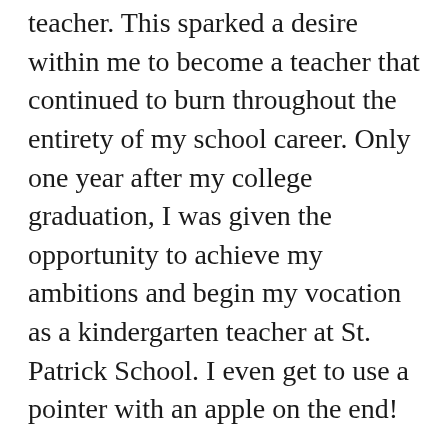younger sisters, trying to be exactly like my teacher. This sparked a desire within me to become a teacher that continued to burn throughout the entirety of my school career. Only one year after my college graduation, I was given the opportunity to achieve my ambitions and begin my vocation as a kindergarten teacher at St. Patrick School. I even get to use a pointer with an apple on the end!
Personal:
One of the most influential parts of my life has been my family. I have been so blessed to